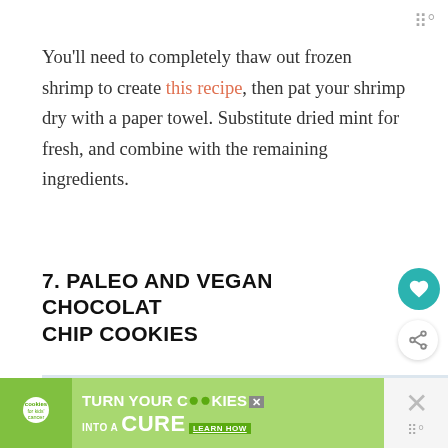You'll need to completely thaw out frozen shrimp to create this recipe, then pat your shrimp dry with a paper towel. Substitute dried mint for fresh, and combine with the remaining ingredients.
7. PALEO AND VEGAN CHOCOLATE CHIP COOKIES
[Figure (photo): Photo of chocolate chip cookies on a light blue-grey background, partially visible at bottom of page]
[Figure (screenshot): What's Next overlay showing thumbnail and text '20 Easy Recipes You...']
[Figure (infographic): Green advertisement banner: 'turn your COOKIES into a CURE LEARN HOW' with Cookies for Kids Cancer logo]